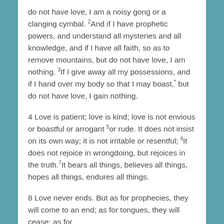do not have love, I am a noisy gong or a clanging cymbal. 2And if I have prophetic powers, and understand all mysteries and all knowledge, and if I have all faith, so as to remove mountains, but do not have love, I am nothing. 3If I give away all my possessions, and if I hand over my body so that I may boast,* but do not have love, I gain nothing.
4 Love is patient; love is kind; love is not envious or boastful or arrogant 5or rude. It does not insist on its own way; it is not irritable or resentful; 6it does not rejoice in wrongdoing, but rejoices in the truth.7It bears all things, believes all things, hopes all things, endures all things.
8 Love never ends. But as for prophecies, they will come to an end; as for tongues, they will cease; as for